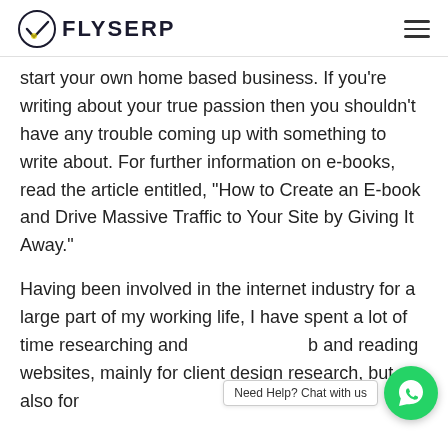FLYSERP
start your own home based business. If you’re writing about your true passion then you shouldn’t have any trouble coming up with something to write about. For further information on e-books, read the article entitled, “How to Create an E-book and Drive Massive Traffic to Your Site by Giving It Away.”
Having been involved in the internet industry for a large part of my working life, I have spent a lot of time researching and b and reading websites, mainly for client design research, but also for